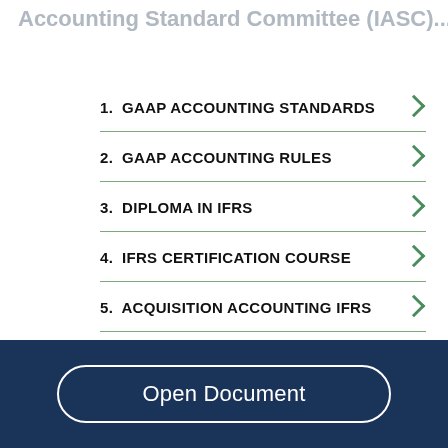Accounting Standard Committee (IASC)...
1.  GAAP ACCOUNTING STANDARDS
2.  GAAP ACCOUNTING RULES
3.  DIPLOMA IN IFRS
4.  IFRS CERTIFICATION COURSE
5.  ACQUISITION ACCOUNTING IFRS
Sponsored | An AMG Site
Open Document